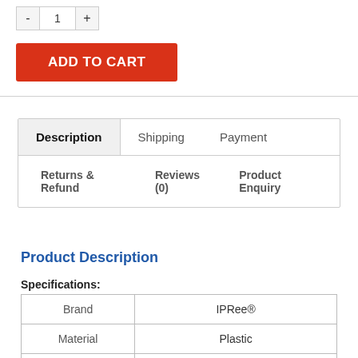- 1 +
ADD TO CART
Description | Shipping | Payment
Returns & Refund | Reviews (0) | Product Enquiry
Product Description
Specifications:
|  |  |
| --- | --- |
| Brand | IPRee® |
| Material | Plastic |
| Color | Red, blue |
| Size | 5.5 x 8.5cm / 2.17 x 3.35inch |
| Weight |  |